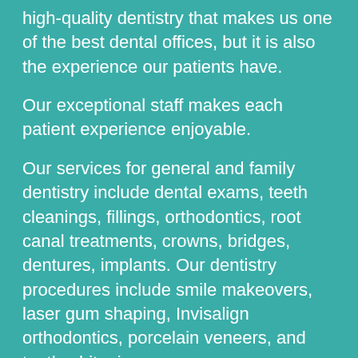high-quality dentistry that makes us one of the best dental offices, but it is also the experience our patients have.
Our exceptional staff makes each patient experience enjoyable.
Our services for general and family dentistry include dental exams, teeth cleanings, fillings, orthodontics, root canal treatments, crowns, bridges, dentures, implants. Our dentistry procedures include smile makeovers, laser gum shaping, Invisalign orthodontics, porcelain veneers, and teeth whitening.
Our Indiana dentists provide a full range of solutions, including dental implants, wisdom teeth removal, corrective jaw surgery, and more to improve your oral and overall health. As a patient of our practice, you'll receive specialized care performed with an eye for detail and dedication to